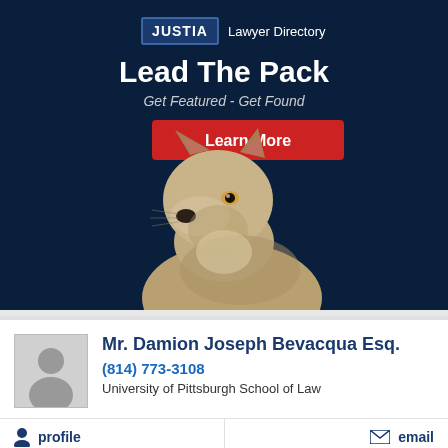[Figure (logo): Justia Lawyer Directory banner with wolf illustration. Dark navy background with Justia logo box, 'Lead The Pack' headline, 'Get Featured - Get Found' subheadline, red Learn More button, and a wolf/dog portrait photo.]
Mr. Damion Joseph Bevacqua Esq.
(814) 773-3108
University of Pittsburgh School of Law
profile
email